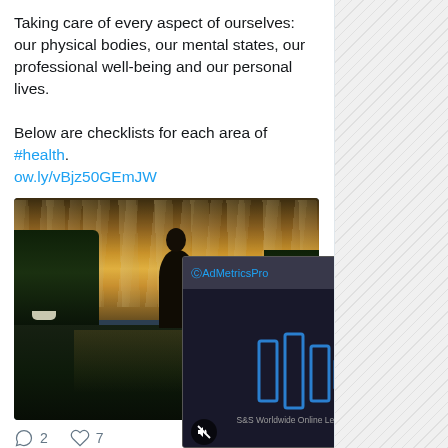Taking care of every aspect of ourselves: our physical bodies, our mental states, our professional well-being and our personal lives.

Below are checklists for each area of #health.
ow.ly/vBjz50GEmJW
[Figure (photo): A person sitting by a lake or river at sunset/dusk, with dark trees on both sides and dramatic cloudy sky with golden light. A small boat is visible on the left side of the water.]
[Figure (screenshot): A video player overlay showing @AdMetricsPro with blue play button bars and text 'S&S Worldwide Online Learning']
2   7
You Retweeted